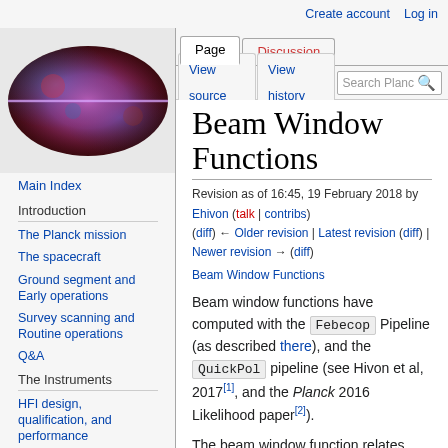Create account  Log in
[Figure (photo): Oval/elliptical astronomical image showing cosmic microwave background or galaxy map in red, blue and purple colors — Planck mission logo image]
Main Index
Introduction
The Planck mission
The spacecraft
Ground segment and Early operations
Survey scanning and Routine operations
Q&A
The Instruments
HFI design, qualification, and performance
Beam Window Functions
Revision as of 16:45, 19 February 2018 by Ehivon (talk | contribs)
(diff) ← Older revision | Latest revision (diff) | Newer revision → (diff)
Beam Window Functions
Beam window functions have computed with the Febecop Pipeline (as described there), and the QuickPol pipeline (see Hivon et al, 2017[1], and the Planck 2016 Likelihood paper[2]).
The beam window function relates, over the full sky or over a masked sky, the